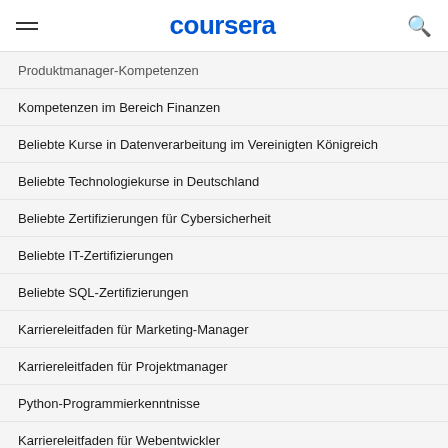coursera
Produktmanager-Kompetenzen
Kompetenzen im Bereich Finanzen
Beliebte Kurse in Datenverarbeitung im Vereinigten Königreich
Beliebte Technologiekurse in Deutschland
Beliebte Zertifizierungen für Cybersicherheit
Beliebte IT-Zertifizierungen
Beliebte SQL-Zertifizierungen
Karriereleitfaden für Marketing-Manager
Karriereleitfaden für Projektmanager
Python-Programmierkenntnisse
Karriereleitfaden für Webentwickler
Datenanalysefähigkeiten
Kompetenzen für UX-Designer